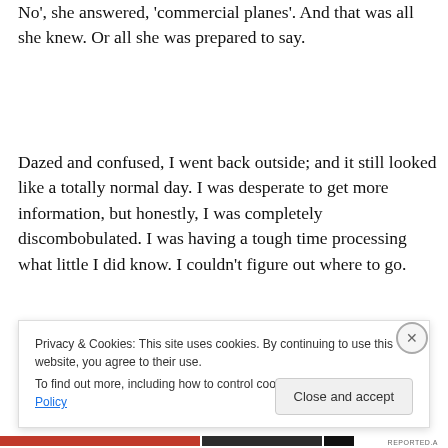No', she answered, 'commercial planes'. And that was all she knew.  Or all she was prepared to say.
Dazed and confused, I went back outside; and it still looked like a totally normal day.  I was desperate to get more information, but honestly, I was completely discombobulated.  I was having a tough time processing what little I did know.  I couldn't figure out where to go.
And suddenly I realized that the Four Seasons Hotel was
Privacy & Cookies: This site uses cookies. By continuing to use this website, you agree to their use. To find out more, including how to control cookies, see here: Cookie Policy
Close and accept